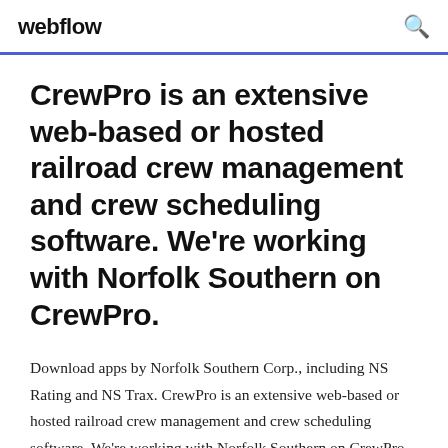webflow
CrewPro is an extensive web-based or hosted railroad crew management and crew scheduling software. We're working with Norfolk Southern on CrewPro.
Download apps by Norfolk Southern Corp., including NS Rating and NS Trax. CrewPro is an extensive web-based or hosted railroad crew management and crew scheduling software. We're working with Norfolk Southern on CrewPro. CrewPro is a web-based railroad crew